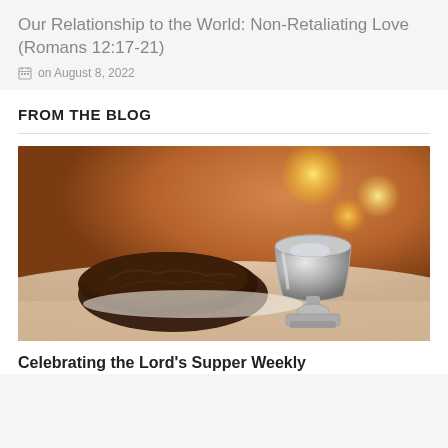Our Relationship to the World: Non-Retaliating Love (Romans 12:17-21)
on August 8, 2022
FROM THE BLOG
[Figure (photo): A silver chalice/goblet next to a rustic loaf of bread on a table, with warm bokeh candle lights in the background — communion/Lord's Supper imagery.]
Celebrating the Lord's Supper Weekly